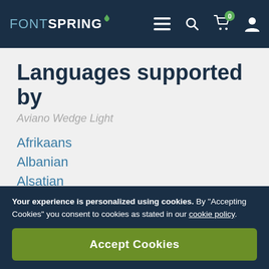FONTSPRING navigation bar with logo, menu, search, cart (0), and user icons
Languages supported by
Aviano Wedge Light
Afrikaans
Albanian
Alsatian
Aragonese
Arapaho
Aromanian
Arrernte
Asturian
Your experience is personalized using cookies. By "Accepting Cookies" you consent to cookies as stated in our cookie policy.
Accept Cookies